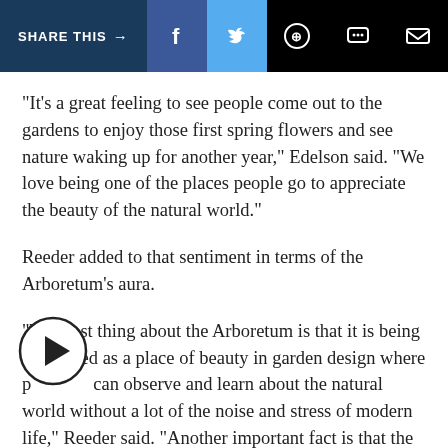SHARE THIS → f 𝕩 ⊕ 💬 ✉
“It’s a great feeling to see people come out to the gardens to enjoy those first spring flowers and see nature waking up for another year,” Edelson said. “We love being one of the places people go to appreciate the beauty of the natural world.”
Reeder added to that sentiment in terms of the Arboretum’s aura.
“The best thing about the Arboretum is that it is being developed as a place of beauty in garden design where p⁠⁠⁠⁠can observe and learn about the natural world without a lot of the noise and stress of modern life,” Reeder said. “Another important fact is that the Arboretum which is being built through the community it